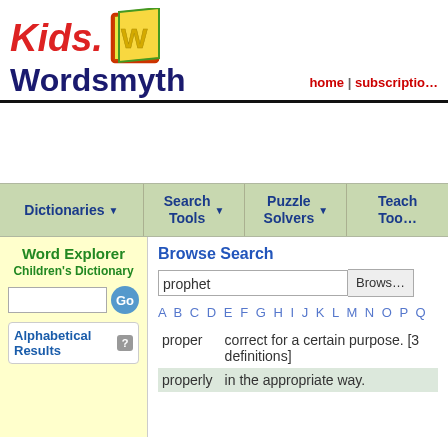[Figure (logo): Kids.Wordsmyth logo with colorful W icon]
home | subscription
[Figure (screenshot): Navigation bar with Dictionaries, Search Tools, Puzzle Solvers, Teach Tools]
Word Explorer Children's Dictionary
Alphabetical Results
Browse Search
prophet
A B C D E F G H I J K L M N O P Q
proper   correct for a certain purpose. [3 definitions]
properly   in the appropriate way.